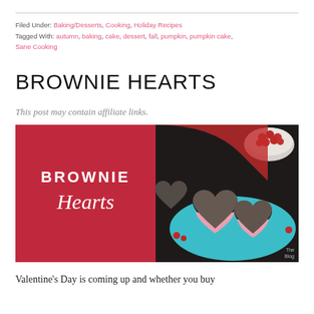Filed Under: Baking/Desserts, Cooking, Holiday Recipes
Tagged With: autumn, baking, cake, dessert, fall, pumpkin, pumpkin cake, Sane Cooking
BROWNIE HEARTS
This post may contain affiliate links.
[Figure (photo): Brownie Hearts food photo with red background on left showing text 'BROWNIE Hearts' and photo on right of heart-shaped chocolate brownie sandwiches with pink filling dusted with powdered sugar on a teal plate with raspberries]
Valentine's Day is coming up and whether you buy